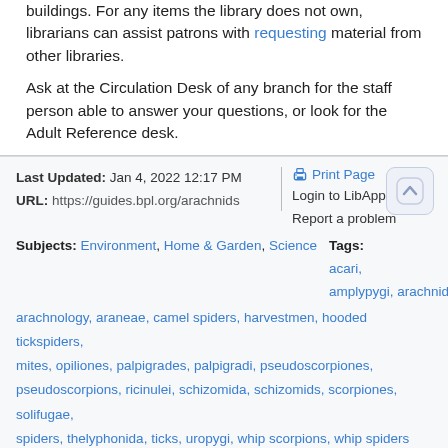buildings. For any items the library does not own, librarians can assist patrons with requesting material from other libraries.
Ask at the Circulation Desk of any branch for the staff person able to answer your questions, or look for the Adult Reference desk.
Last Updated: Jan 4, 2022 12:17 PM
URL: https://guides.bpl.org/arachnids
Print Page
Login to LibApps
Report a problem
Subjects: Environment, Home & Garden, Science
Tags: acari, amplypygi, arachnids, arachnology, araneae, camel spiders, harvestmen, hooded tickspiders, mites, opiliones, palpigrades, palpigradi, pseudoscorpiones, pseudoscorpions, ricinulei, schizomida, schizomids, scorpiones, solifugae, spiders, thelyphonida, ticks, uropygi, whip scorpions, whip spiders